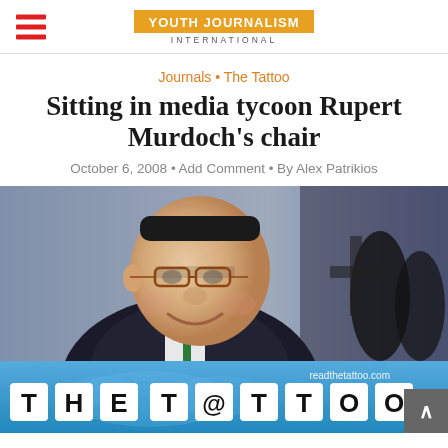Youth Journalism International
Journals · The Tattoo
Sitting in media tycoon Rupert Murdoch's chair
October 6, 2008 · Add Comment · By Alex Patrikios
[Figure (photo): Portrait photo of Rupert Murdoch, an elderly man in a dark suit with glasses, smiling, with a blurred background]
[Figure (logo): The Tattoo banner with logo text 'THE T@TTOO' and readthetattoo.com, blue background with world map graphic]